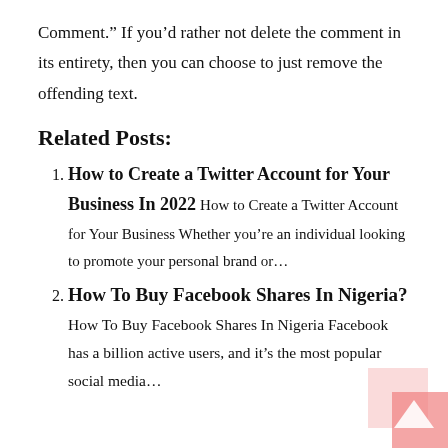Comment.” If you’d rather not delete the comment in its entirety, then you can choose to just remove the offending text.
Related Posts:
How to Create a Twitter Account for Your Business In 2022 How to Create a Twitter Account for Your Business Whether you’re an individual looking to promote your personal brand or…
How To Buy Facebook Shares In Nigeria? How To Buy Facebook Shares In Nigeria Facebook has a billion active users, and it’s the most popular social media…